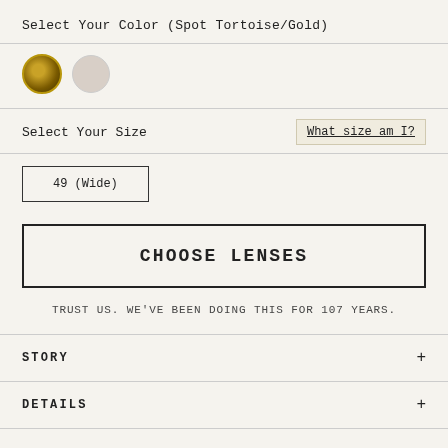Select Your Color (Spot Tortoise/Gold)
[Figure (illustration): Two circular color swatches: first is selected with gold border showing tortoise/gold pattern, second is a plain pinkish-beige swatch.]
Select Your Size
What size am I?
49 (Wide)
CHOOSE LENSES
TRUST US. WE'VE BEEN DOING THIS FOR 107 YEARS.
STORY +
DETAILS +